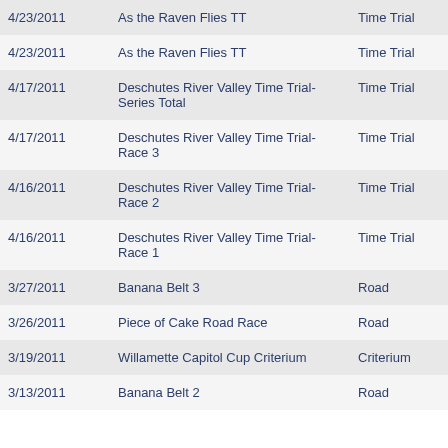| Date | Race Name | Type |
| --- | --- | --- |
| 4/23/2011 | As the Raven Flies TT | Time Trial |
| 4/23/2011 | As the Raven Flies TT | Time Trial |
| 4/17/2011 | Deschutes River Valley Time Trial-Series Total | Time Trial |
| 4/17/2011 | Deschutes River Valley Time Trial-Race 3 | Time Trial |
| 4/16/2011 | Deschutes River Valley Time Trial-Race 2 | Time Trial |
| 4/16/2011 | Deschutes River Valley Time Trial-Race 1 | Time Trial |
| 3/27/2011 | Banana Belt 3 | Road |
| 3/26/2011 | Piece of Cake Road Race | Road |
| 3/19/2011 | Willamette Capitol Cup Criterium | Criterium |
| 3/13/2011 | Banana Belt 2 | Road |